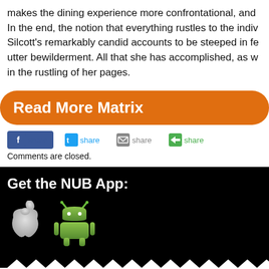makes the dining experience more confrontational, and In the end, the notion that everything rustles to the indiv Silcott's remarkably candid accounts to be steeped in fe utter bewilderment. All that she has accomplished, as w in the rustling of her pages.
Read More Matrix
[Figure (infographic): Social share buttons: Facebook share, Twitter share, Email share, More share]
Comments are closed.
Get the NUB App:
[Figure (illustration): Apple App Store icon (white Apple logo) and Android Google Play icon (green Android robot)]